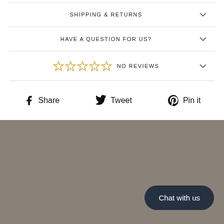SHIPPING & RETURNS
HAVE A QUESTION FOR US?
☆☆☆☆☆ NO REVIEWS
Share   Tweet   Pin it
[Figure (screenshot): Gray background section with a dark navy rounded 'Chat with us' button in the bottom right corner]